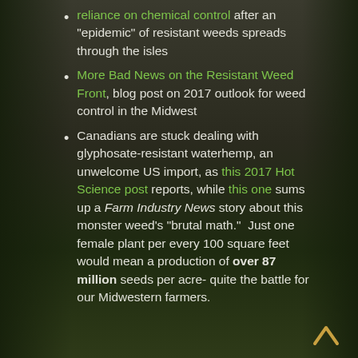reliance on chemical control after an "epidemic" of resistant weeds spreads through the isles
More Bad News on the Resistant Weed Front, blog post on 2017 outlook for weed control in the Midwest
Canadians are stuck dealing with glyphosate-resistant waterhemp, an unwelcome US import, as this 2017 Hot Science post reports, while this one sums up a Farm Industry News story about this monster weed's "brutal math."  Just one female plant per every 100 square feet would mean a production of over 87 million seeds per acre- quite the battle for our Midwestern farmers.